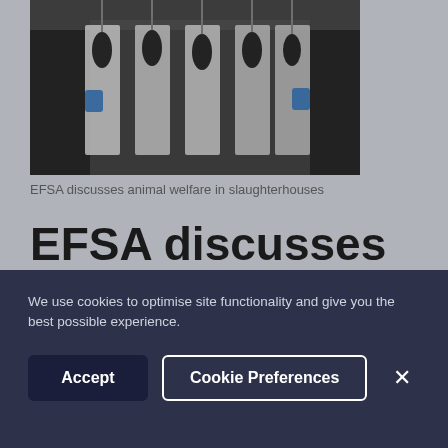[Figure (photo): Workers in white coats handling poultry carcasses hanging in a slaughterhouse facility]
EFSA discusses animal welfare in slaughterhouses
EFSA discusses animal welfare in slaughterhouses
We use cookies to optimise site functionality and give you the best possible experience.